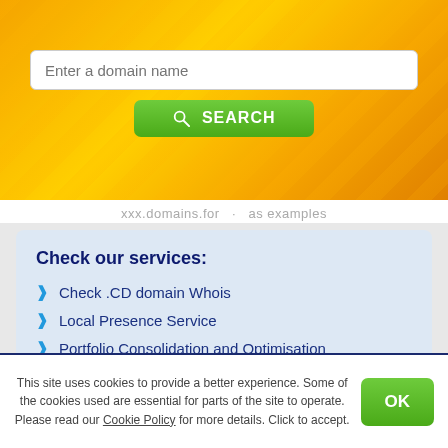[Figure (screenshot): Domain search banner with orange/yellow gradient background, text input field saying 'Enter a domain name' and a green SEARCH button]
xxx.domains.for ... as examples
Check our services:
Check .CD domain Whois
Local Presence Service
Portfolio Consolidation and Optimisation
Domain Portfolio Audit and Analysis
Hosting in Europe
SSL Certificates
This site uses cookies to provide a better experience. Some of the cookies used are essential for parts of the site to operate. Please read our Cookie Policy for more details. Click to accept.